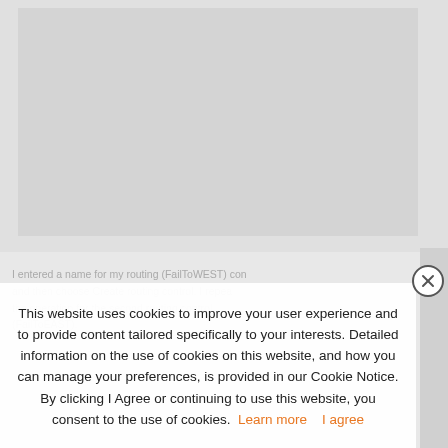[Figure (screenshot): Gray background area representing a webpage screenshot behind the cookie consent overlay]
I entered a name for my routing (FailToWEST) con and then choose Create routing control. I repea the operation for the second routing control (FailToEAST).
This website uses cookies to improve your user experience and to provide content tailored specifically to your interests. Detailed information on the use of cookies on this website, and how you can manage your preferences, is provided in our Cookie Notice. By clicking I Agree or continuing to use this website, you consent to the use of cookies. Learn more    I agree